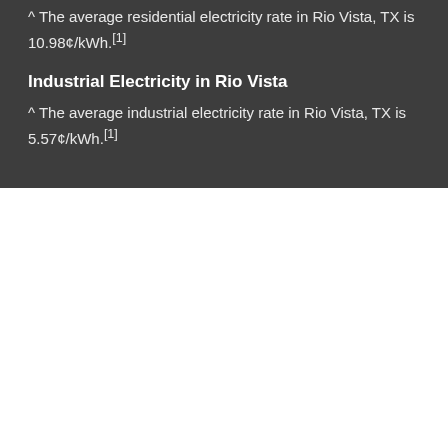^ The average residential electricity rate in Rio Vista, TX is 10.98¢/kWh.[1]
Industrial Electricity in Rio Vista
^ The average industrial electricity rate in Rio Vista, TX is 5.57¢/kWh.[1]